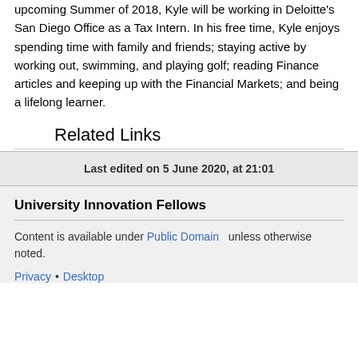upcoming Summer of 2018, Kyle will be working in Deloitte's San Diego Office as a Tax Intern. In his free time, Kyle enjoys spending time with family and friends; staying active by working out, swimming, and playing golf; reading Finance articles and keeping up with the Financial Markets; and being a lifelong learner.
Related Links
Last edited on 5 June 2020, at 21:01
University Innovation Fellows
Content is available under Public Domain unless otherwise noted.
Privacy • Desktop